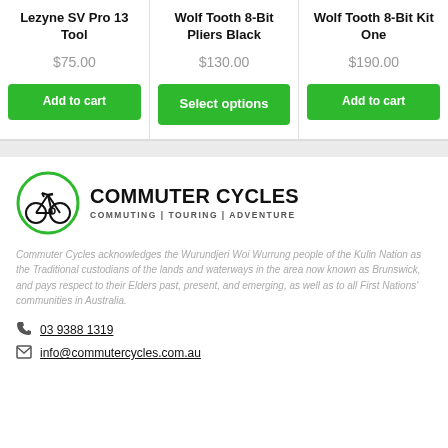Lezyne SV Pro 13 Tool
$75.00
Wolf Tooth 8-Bit Pliers Black
$130.00
Wolf Tooth 8-Bit Kit One
$190.00
[Figure (logo): Commuter Cycles logo: green circle with bicycle icon, bold text COMMUTER CYCLES, tagline COMMUTING | TOURING | ADVENTURE]
Commuter Cycles acknowledges the Wurundjeri Woi Wurrung people of the Kulin Nation as the Traditional custodians of the lands and waterways in the area now known as Brunswick, and pays respect to their Elders past, present, and emerging, as well as to all First Nations' communities in Australia.
03 9388 1319
info@commutercycles.com.au